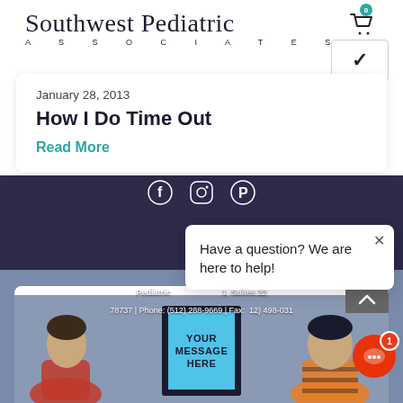Southwest Pediatric ASSOCIATES
January 28, 2013
How I Do Time Out
Read More
[Figure (screenshot): Social media icons: Facebook, Instagram, Pinterest on dark purple background]
Have a question? We are here to help!
Pediatric ... 1, Suites 22...
78737 | Phone: (512) 288-9669 | Fax: (512) 498-031...
[Figure (photo): Two children sitting with backs turned, center sign reading YOUR MESSAGE HERE on blue background]
YOUR MESSAGE HERE